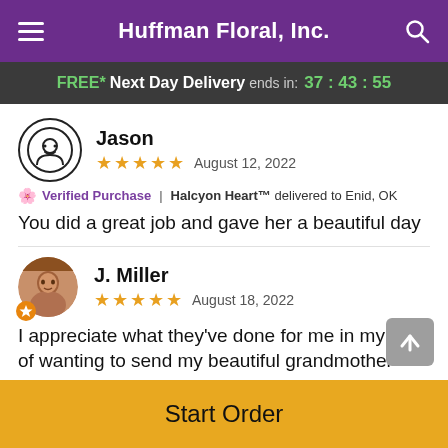Huffman Floral, Inc.
FREE* Next Day Delivery ends in: 37 : 43 : 55
Jason
★★★★★  August 12, 2022
🌸 Verified Purchase | Halcyon Heart™ delivered to Enid, OK
You did a great job and gave her a beautiful day
J. Miller
★★★★★  August 18, 2022
I appreciate what they've done for me in my time of wanting to send my beautiful grandmother flowers on her 80th
Start Order